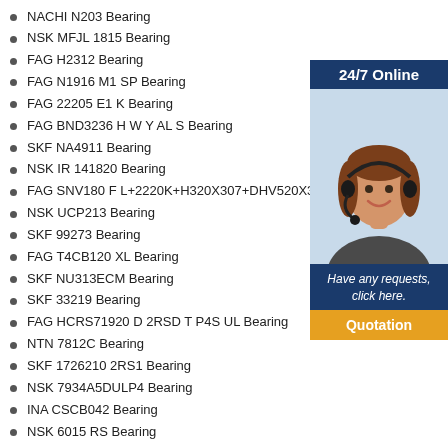NACHI N203 Bearing
NSK MFJL 1815 Bearing
FAG H2312 Bearing
FAG N1916 M1 SP Bearing
FAG 22205 E1 K Bearing
FAG BND3236 H W Y AL S Bearing
SKF NA4911 Bearing
NSK IR 141820 Bearing
FAG SNV180 F L+2220K+H320X307+DHV520X307 B
NSK UCP213 Bearing
SKF 99273 Bearing
FAG T4CB120 XL Bearing
SKF NU313ECM Bearing
SKF 33219 Bearing
FAG HCRS71920 D 2RSD T P4S UL Bearing
NTN 7812C Bearing
SKF 1726210 2RS1 Bearing
NSK 7934A5DULP4 Bearing
INA CSCB042 Bearing
NSK 6015 RS Bearing
NTN HJ228 Bearing
SKF 99599 Bearing
[Figure (illustration): 24/7 Online customer service panel with photo of smiling woman with headset, dark blue background, italic text 'Have any requests, click here.' and orange Quotation button]